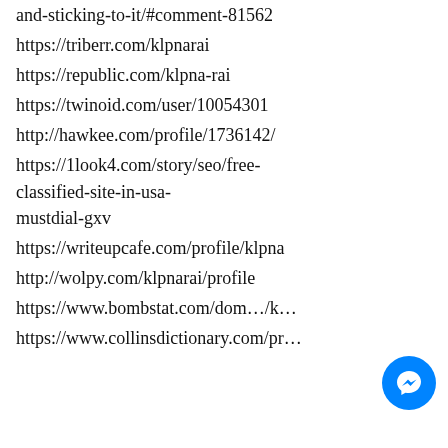and-sticking-to-it/#comment-81562
https://triberr.com/klpnarai
https://republic.com/klpna-rai
https://twinoid.com/user/10054301
http://hawkee.com/profile/1736142/
https://1look4.com/story/seo/free-classified-site-in-usa-mustdial-gxv
https://writeupcafe.com/profile/klpna
http://wolpy.com/klpnarai/profile
https://www.bombstat.com/dom…/k…
https://www.collinsdictionary.com/pr…